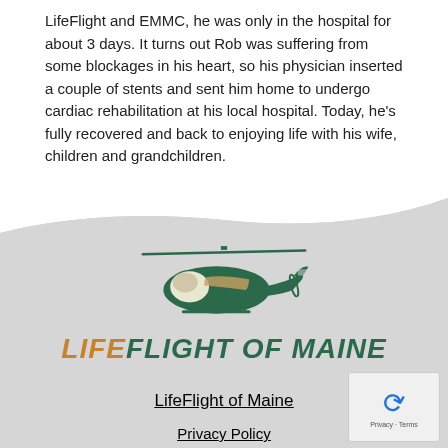LifeFlight and EMMC, he was only in the hospital for about 3 days. It turns out Rob was suffering from some blockages in his heart, so his physician inserted a couple of stents and sent him home to undergo cardiac rehabilitation at his local hospital. Today, he's fully recovered and back to enjoying life with his wife, children and grandchildren.
[Figure (logo): LifeFlight of Maine logo with a green and white helicopter above the organization name in orange italic 'LIFE' and dark green italic bold 'FLIGHT OF MAINE']
LifeFlight of Maine
Privacy Policy
© 2022 2020 Annual Report